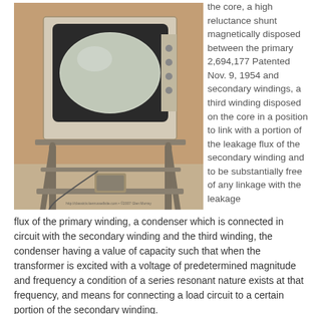[Figure (photo): Vintage television set on a wheeled metal stand, positioned against a brick wall. The TV has a boxy cabinet with a round CRT screen. A small device sits on the lower shelf of the stand. A watermark URL is visible at the bottom of the image.]
the core, a high reluctance shunt magnetically disposed between the primary 2,694,177 Patented Nov. 9, 1954 and secondary windings, a third winding disposed on the core in a position to link with a portion of the leakage flux of the secondary winding and to be substantially free of any linkage with the leakage flux of the primary winding, a condenser which is connected in circuit with the secondary winding and the third winding, the condenser having a value of capacity such that when the transformer is excited with a voltage of predetermined magnitude and frequency a condition of a series resonant nature exists at that frequency, and means for connecting a load circuit to a certain portion of the secondary winding.